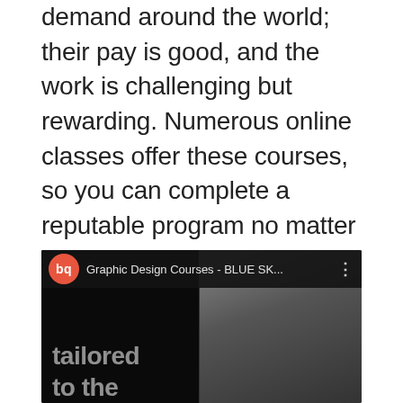demand around the world; their pay is good, and the work is challenging but rewarding. Numerous online classes offer these courses, so you can complete a reputable program no matter where you live. Accredited online web design and graphics courses Liverpool have become particularly popular options for web design and development students who are likely to do things online in the first place.
[Figure (screenshot): YouTube video thumbnail for 'Graphic Design Courses - BLUE SK...' showing the bq logo (orange circle with white 'bq' text), video title in the top bar, three-dot menu, and a dark panel on the left with faded text 'tailored to the' overlaid, and a woman wearing headphones on the right side.]